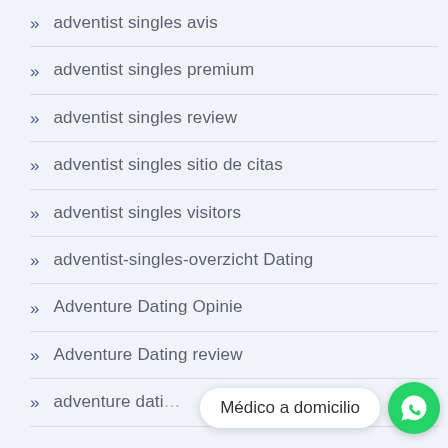adventist singles avis
adventist singles premium
adventist singles review
adventist singles sitio de citas
adventist singles visitors
adventist-singles-overzicht Dating
Adventure Dating Opinie
Adventure Dating review
adventure dating...